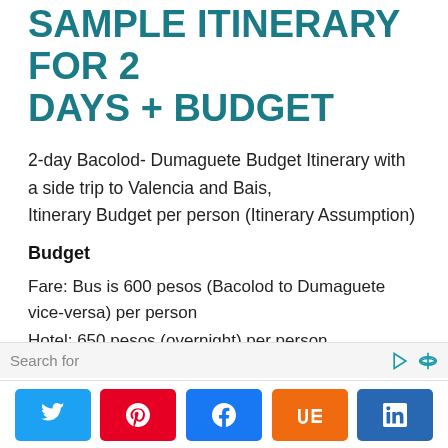SAMPLE ITINERARY FOR 2 DAYS + BUDGET
2-day Bacolod- Dumaguete Budget Itinerary with a side trip to Valencia and Bais,
Itinerary Budget per person (Itinerary Assumption)
Budget
Fare: Bus is 600 pesos (Bacolod to Dumaguete vice-versa) per person
Hotel: 650 pesos (overnight) per person
Manjuyod Sandbar: 750 pesos per person
Food: It depends on where you eat, but you can find
Search for